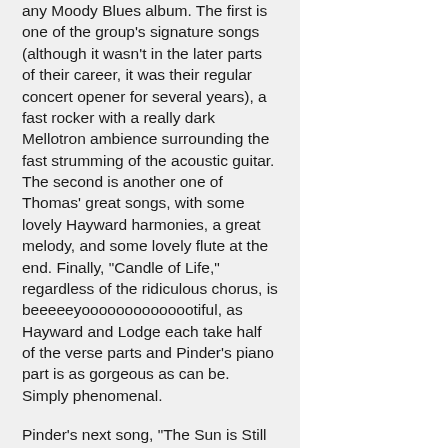any Moody Blues album. The first is one of the group's signature songs (although it wasn't in the later parts of their career, it was their regular concert opener for several years), a fast rocker with a really dark Mellotron ambience surrounding the fast strumming of the acoustic guitar. The second is another one of Thomas' great songs, with some lovely Hayward harmonies, a great melody, and some lovely flute at the end. Finally, "Candle of Life," regardless of the ridiculous chorus, is beeeeeyoooooooooooootiful, as Hayward and Lodge each take half of the verse parts and Pinder's piano part is as gorgeous as can be. Simply phenomenal.
Pinder's next song, "The Sun is Still Shining," isn't any worse than the masterpieces which preceded it, although it's somewhat odd to be getting such a cheerful song from Mike (especially when the last three tracks had all been so dark). It's cool, and you'll be perfectly happy to hear it when it